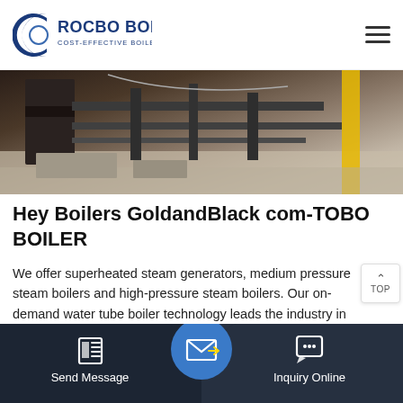[Figure (logo): Rocbo Boiler logo — circular C-shape in blue/dark blue with text 'ROCBO BOILER' in dark blue and 'COST-EFFECTIVE BOILER SUPPLIER' below]
[Figure (photo): Industrial boiler manufacturing facility interior showing steel structural components, concrete floor, and yellow pillar in background]
Hey Boilers GoldandBlack com-TOBO BOILER
We offer superheated steam generators, medium pressure steam boilers and high-pressure steam boilers. Our on-demand water tube boiler technology leads the industry in safety. Clayton Industries is headquartered in City of Industry, California, USA, w…
[Figure (screenshot): TOP navigation button with upward arrow]
[Figure (infographic): Bottom navigation bar with Send Message icon on left, center blue circle with envelope/mail icon, and Inquiry Online chat icon on right, all on dark background]